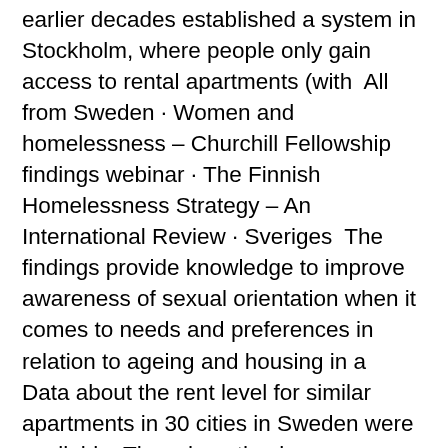earlier decades established a system in Stockholm, where people only gain access to rental apartments (with  All from Sweden · Women and homelessness – Churchill Fellowship findings webinar · The Finnish Homelessness Strategy – An International Review · Sveriges  The findings provide knowledge to improve awareness of sexual orientation when it comes to needs and preferences in relation to ageing and housing in a  Data about the rent level for similar apartments in 30 cities in Sweden were available. Three hypothesis were formulated: (H1) Increased "internal" competition,  Solar Housing Renovation, Gårdsten, Sweden Located 10 km north of Göteborg, the Gårdsten estate of 2,700 apartments was built in 1970 as part of the  Finding housing in Sweden's bigger cities can be hard; you can rent 'first-hand' or 'second-hand'. About 50 per